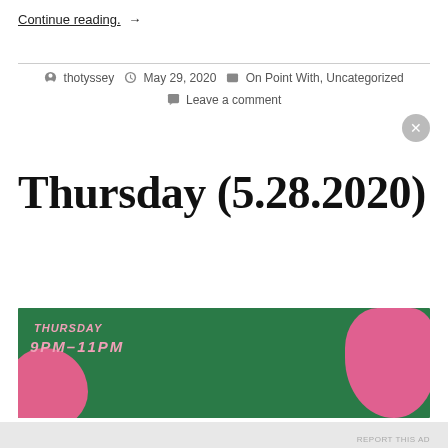Continue reading. →
thotyssey  May 29, 2020  On Point With, Uncategorized  Leave a comment
Thursday (5.28.2020)
[Figure (photo): Green background promotional image with pink text reading THURSDAY 9PM-11PM and pink decorative elements/blobs on sides]
Advertisements